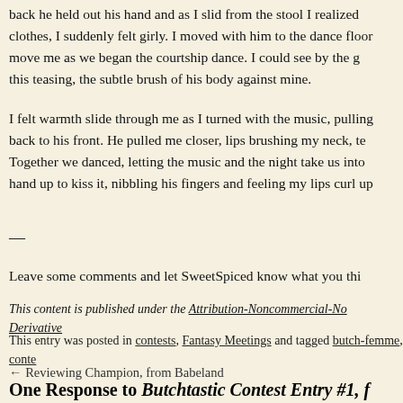back he held out his hand and as I slid from the stool I realized clothes, I suddenly felt girly. I moved with him to the dance floor move me as we began the courtship dance. I could see by the g this teasing, the subtle brush of his body against mine.
I felt warmth slide through me as I turned with the music, pulling back to his front. He pulled me closer, lips brushing my neck, te Together we danced, letting the music and the night take us into hand up to kiss it, nibbling his fingers and feeling my lips curl up
—
Leave some comments and let SweetSpiced know what you thi
This content is published under the Attribution-Noncommercial-No Derivative
This entry was posted in contests, Fantasy Meetings and tagged butch-femme, conte
← Reviewing Champion, from Babeland
One Response to Butchtastic Contest Entry #1, f